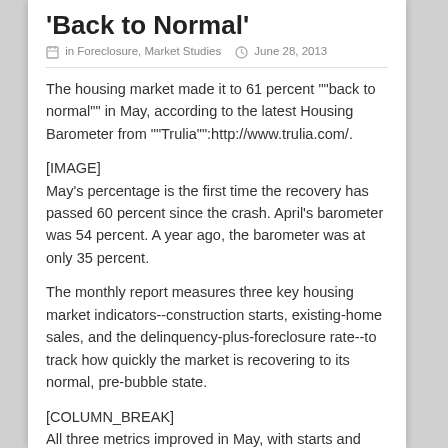'Back to Normal'
in Foreclosure, Market Studies   June 28, 2013
The housing market made it to 61 percent ""back to normal"" in May, according to the latest Housing Barometer from ""Trulia"":http://www.trulia.com/.
[IMAGE]
May's percentage is the first time the recovery has passed 60 percent since the crash. April's barometer was 54 percent. A year ago, the barometer was at only 35 percent.
The monthly report measures three key housing market indicators--construction starts, existing-home sales, and the delinquency-plus-foreclosure rate--to track how quickly the market is recovering to its normal, pre-bubble state.
[COLUMN_BREAK]
All three metrics improved in May, with starts and sales rising and the delinquency/foreclosure rate falling.